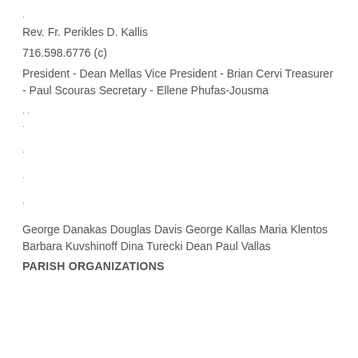.
Rev. Fr. Perikles D. Kallis
716.598.6776 (c)
President - Dean Mellas Vice President - Brian Cervi Treasurer - Paul Scouras Secretary - Ellene Phufas-Jousma
. .
.
.
.
.
George Danakas Douglas Davis George Kallas Maria Klentos Barbara Kuvshinoff Dina Turecki Dean Paul Vallas
PARISH ORGANIZATIONS